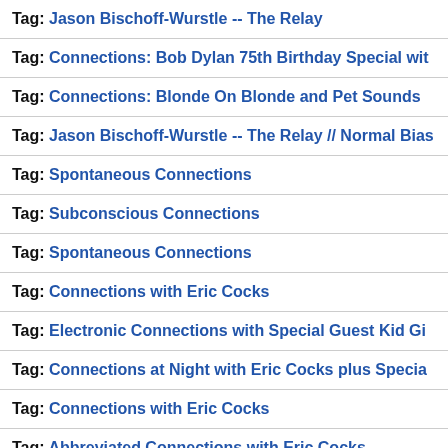Tag: Jason Bischoff-Wurstle -- The Relay
Tag: Connections: Bob Dylan 75th Birthday Special wit...
Tag: Connections: Blonde On Blonde and Pet Sounds ...
Tag: Jason Bischoff-Wurstle -- The Relay // Normal Bias...
Tag: Spontaneous Connections
Tag: Subconscious Connections
Tag: Spontaneous Connections
Tag: Connections with Eric Cocks
Tag: Electronic Connections with Special Guest Kid Gi...
Tag: Connections at Night with Eric Cocks plus Specia...
Tag: Connections with Eric Cocks
Tag: Abbreviated Connections with Eric Cocks
Tag: Connections with Eric Cocks